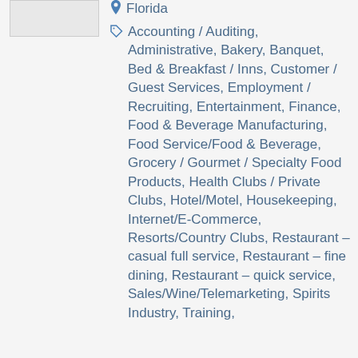[Figure (photo): Profile image placeholder box, light gray rectangle]
Florida
Accounting / Auditing, Administrative, Bakery, Banquet, Bed & Breakfast / Inns, Customer / Guest Services, Employment / Recruiting, Entertainment, Finance, Food & Beverage Manufacturing, Food Service/Food & Beverage, Grocery / Gourmet / Specialty Food Products, Health Clubs / Private Clubs, Hotel/Motel, Housekeeping, Internet/E-Commerce, Resorts/Country Clubs, Restaurant – casual full service, Restaurant – fine dining, Restaurant – quick service, Sales/Wine/Telemarketing, Spirits Industry, Training,